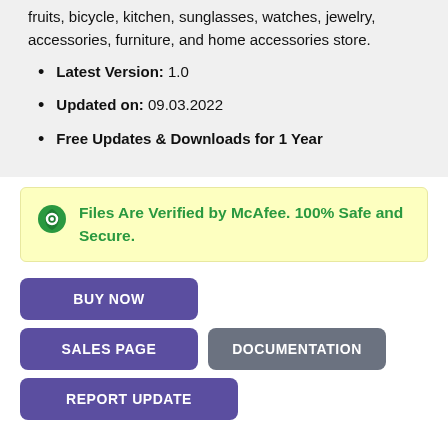fruits, bicycle, kitchen, sunglasses, watches, jewelry, accessories, furniture, and home accessories store.
Latest Version: 1.0
Updated on: 09.03.2022
Free Updates & Downloads for 1 Year
Files Are Verified by McAfee. 100% Safe and Secure.
BUY NOW
SALES PAGE
DOCUMENTATION
REPORT UPDATE